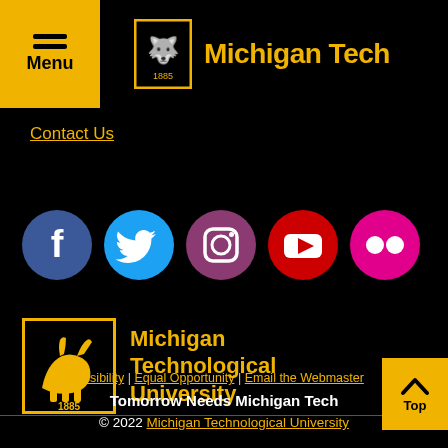Menu | Michigan Tech
Contact Us
[Figure (logo): Social media icons: Facebook, Twitter, Instagram, YouTube, Flickr]
[Figure (logo): Michigan Technological University logo with wolf and 1885]
Accessibility | Equal Opportunity | Email the Webmaster
Tomorrow Needs Michigan Tech
© 2022 Michigan Technological University